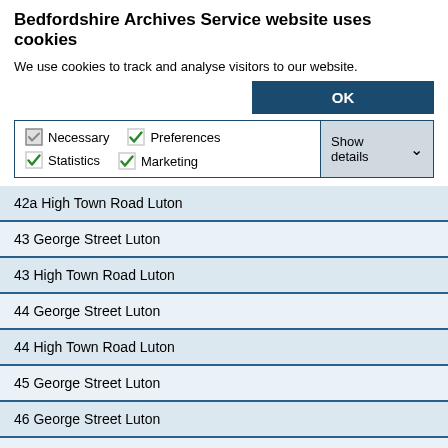Bedfordshire Archives Service website uses cookies
We use cookies to track and analyse visitors to our website.
42a High Town Road Luton
43 George Street Luton
43 High Town Road Luton
44 George Street Luton
44 High Town Road Luton
45 George Street Luton
46 George Street Luton
46 High Town Road Luton
47 George Street Luton
47 to 53 Bute Street Luton